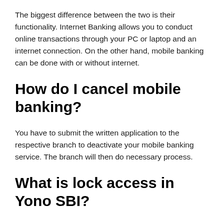The biggest difference between the two is their functionality. Internet Banking allows you to conduct online transactions through your PC or laptop and an internet connection. On the other hand, mobile banking can be done with or without internet.
How do I cancel mobile banking?
You have to submit the written application to the respective branch to deactivate your mobile banking service. The branch will then do necessary process.
What is lock access in Yono SBI?